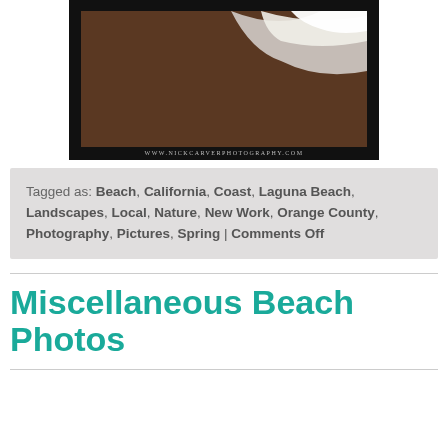[Figure (photo): A framed photograph showing ocean waves washing over sandy beach, with dark sand in foreground and white foamy wave. Black border frame around image. URL 'www.NickCarverPhotography.com' at bottom of frame.]
Tagged as: Beach, California, Coast, Laguna Beach, Landscapes, Local, Nature, New Work, Orange County, Photography, Pictures, Spring | Comments Off
Miscellaneous Beach Photos